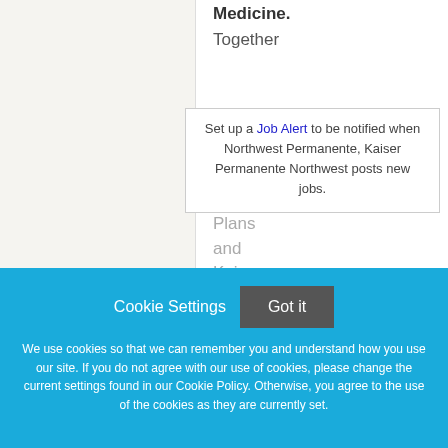Medicine.
Together
Set up a Job Alert to be notified when Northwest Permanente, Kaiser Permanente Northwest posts new jobs.
Kaiser Foundation Health Plans and Kaiser Foundation Hospitals
Cookie Settings
Got it
We use cookies so that we can remember you and understand how you use our site. If you do not agree with our use of cookies, please change the current settings found in our Cookie Policy. Otherwise, you agree to the use of the cookies as they are currently set.